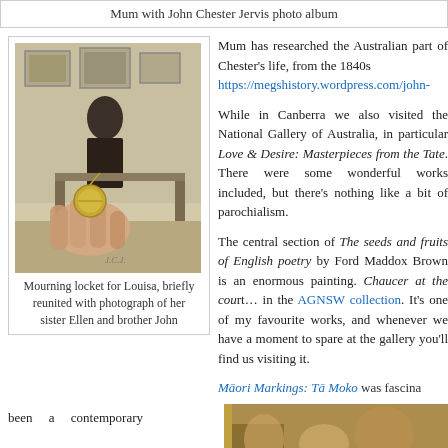Mum with John Chester Jervis photo album
[Figure (photo): Hand holding a mourning locket over a black-and-white photograph of a person seated at a desk with framed pictures on the wall behind]
Mourning locket for Louisa, briefly reunited with photograph of her sister Ellen and brother John
Mum has researched the Australian part of Chester's life, from the 1840s https://megshistory.wordpress.com/john-
While in Canberra we also visited the National Gallery of Australia, in particular Love & Desire: Masterpieces from the Tate. There were some wonderful works included, but there's nothing like a bit of parochialism.
The central section of The seeds and fruits of English poetry by Ford Maddox Brown is an enormous painting. Chaucer at the court… in the AGNSW collection. It's one of my favourite works, and whenever we have a moment to spare at the gallery you'll find us visiting it.
Māori Markings: Tā Moko was fascina
been a contemporary
[Figure (photo): Partial view of a painting showing figures in warm gold and brown tones]